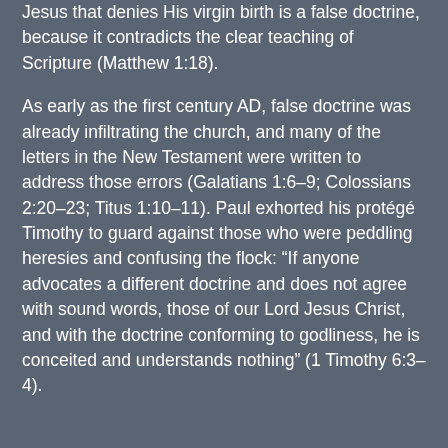Jesus that denies His virgin birth is a false doctrine, because it contradicts the clear teaching of Scripture (Matthew 1:18).
As early as the first century AD, false doctrine was already infiltrating the church, and many of the letters in the New Testament were written to address those errors (Galatians 1:6–9; Colossians 2:20–23; Titus 1:10–11). Paul exhorted his protégé Timothy to guard against those who were peddling heresies and confusing the flock: “If anyone advocates a different doctrine and does not agree with sound words, those of our Lord Jesus Christ, and with the doctrine conforming to godliness, he is conceited and understands nothing” (1 Timothy 6:3–4).